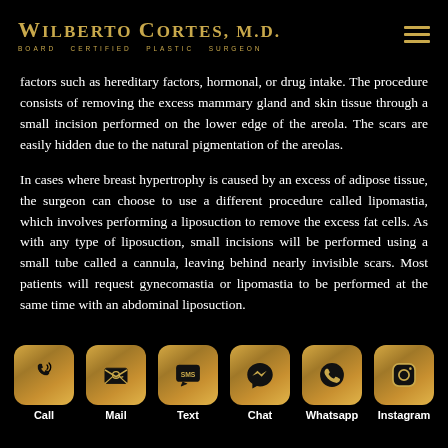Wilberto Cortes, M.D. — Board Certified Plastic Surgeon
factors such as hereditary factors, hormonal, or drug intake. The procedure consists of removing the excess mammary gland and skin tissue through a small incision performed on the lower edge of the areola. The scars are easily hidden due to the natural pigmentation of the areolas.
In cases where breast hypertrophy is caused by an excess of adipose tissue, the surgeon can choose to use a different procedure called lipomastia, which involves performing a liposuction to remove the excess fat cells. As with any type of liposuction, small incisions will be performed using a small tube called a cannula, leaving behind nearly invisible scars. Most patients will request gynecomastia or lipomastia to be performed at the same time with an abdominal liposuction.
Call | Mail | Text | Chat | Whatsapp | Instagram